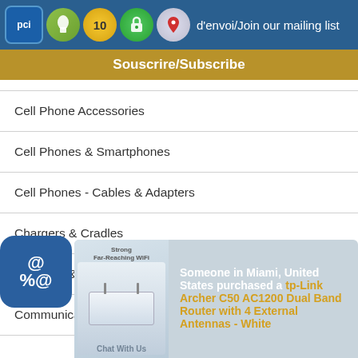d'envoi/Join our mailing list
Souscrire/Subscribe
Cell Phone Accessories
Cell Phones & Smartphones
Cell Phones - Cables & Adapters
Chargers & Cradles
Chargers & Sync Cables
Communication Cables
Computer
Computer Racks & Mounts
Computer Speakers
Co...
Co...
CPU...
Someone in Miami, United States purchased a tp-Link Archer C50 AC1200 Dual Band Router with 4 External Antennas - White